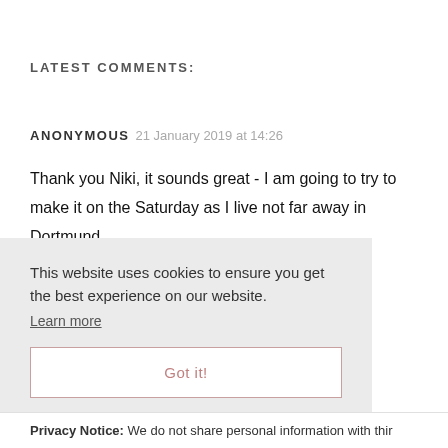LATEST COMMENTS:
ANONYMOUS  21 January 2019 at 14:26
Thank you Niki, it sounds great - I am going to try to make it on the Saturday as I live not far away in Dortmund.
This website uses cookies to ensure you get the best experience on our website.
Learn more
Got it!
Privacy Notice: We do not share personal information with thir